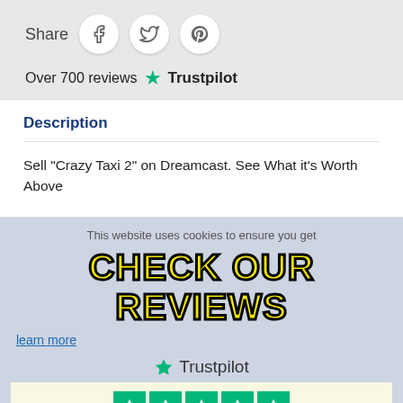Share
[Figure (infographic): Social share buttons for Facebook, Twitter, Pinterest in circles]
Over 700 reviews ★ Trustpilot
Description
Sell "Crazy Taxi 2" on Dreamcast. See What it's Worth Above
This website uses cookies to ensure you get
CHECK OUR REVIEWS
learn more
[Figure (logo): Trustpilot logo with star]
[Figure (infographic): Trustpilot 5 green stars rating box with text See Over 700 reviews]
See Over 700 reviews
Google  4.4 ★ Stars